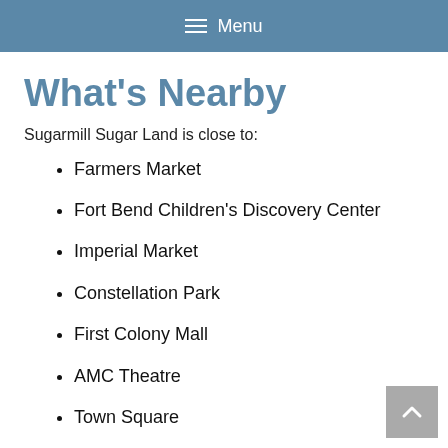Menu
What's Nearby
Sugarmill Sugar Land is close to:
Farmers Market
Fort Bend Children's Discovery Center
Imperial Market
Constellation Park
First Colony Mall
AMC Theatre
Town Square
Whole Food's Market